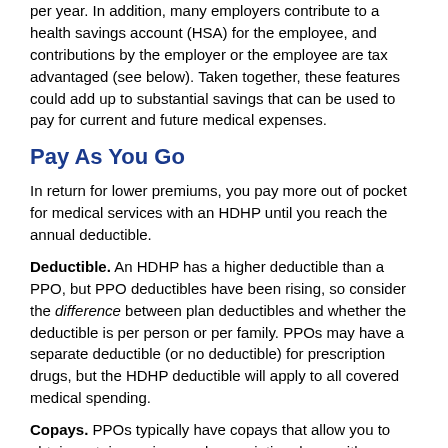per year. In addition, many employers contribute to a health savings account (HSA) for the employee, and contributions by the employer or the employee are tax advantaged (see below). Taken together, these features could add up to substantial savings that can be used to pay for current and future medical expenses.
Pay As You Go
In return for lower premiums, you pay more out of pocket for medical services with an HDHP until you reach the annual deductible.
Deductible. An HDHP has a higher deductible than a PPO, but PPO deductibles have been rising, so consider the difference between plan deductibles and whether the deductible is per person or per family. PPOs may have a separate deductible (or no deductible) for prescription drugs, but the HDHP deductible will apply to all covered medical spending.
Copays. PPOs typically have copays that allow you to obtain certain services and prescription drugs with a defined payment before meeting your deductible. With an HDHP, you pay out of pocket until you meet your deductible, but costs may be reduced through the insurer's negotiated rate. Consider the difference between the copay and the negotiated rate for a typical service such as a doctor visit. Certain types of preventive care and preventive medicines may be provided at no cost under both types of plans.
Maximums. Most health insurance plans have annual and lifetime...